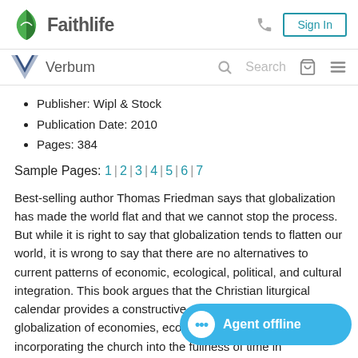Faithlife  Sign In
Verbum  Search
Publisher: Wipl & Stock
Publication Date: 2010
Pages: 384
Sample Pages: 1 | 2 | 3 | 4 | 5 | 6 | 7
Best-selling author Thomas Friedman says that globalization has made the world flat and that we cannot stop the process. But while it is right to say that globalization tends to flatten our world, it is wrong to say that there are no alternatives to current patterns of economic, ecological, political, and cultural integration. This book argues that the Christian liturgical calendar provides a constructive alternative to the globalization of economies, ecologies, politics, and incorporating the church into the fullness of time in